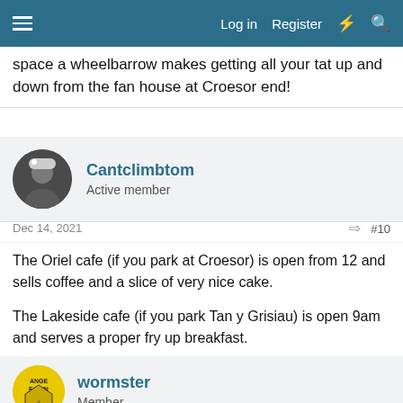Log in  Register
space a wheelbarrow makes getting all your tat up and down from the fan house at Croesor end!
Cantclimbtom
Active member
Dec 14, 2021  #10
The Oriel cafe (if you park at Croesor) is open from 12 and sells coffee and a slice of very nice cake.

The Lakeside cafe (if you park Tan y Grisiau) is open 9am and serves a proper fry up breakfast.

Opinions will differ between cake versus fry up.
wormster
Member